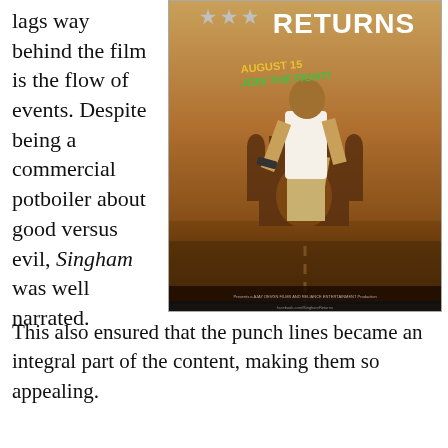lags way behind the film is the flow of events. Despite being a commercial potboiler about good versus evil, Singham was well narrated.
[Figure (photo): Movie poster for 'Singham Returns' showing a muscular man in a white tank top running with a gun, with the Gateway of India visible in the background. Text reads 'RETURNS', 'AUGUST 15 JOIN THE FIGHT!']
This also ensured that the punch lines became an integral part of the content, making them so appealing.